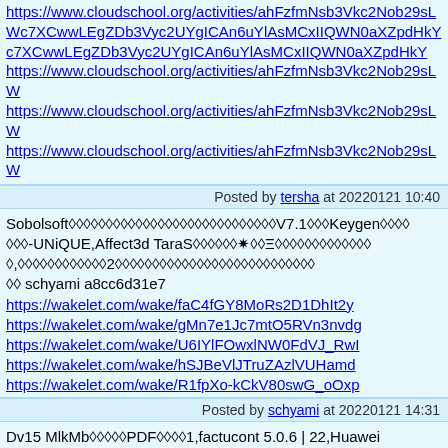https://www.cloudschool.org/activities/ahFzfmNsb3Vkc2Nob29sLWc7XCwwLEgZDb3Vyc2UYgICAn6uYlAsMCxIIQWN0aXZpdHkY... https://www.cloudschool.org/activities/ahFzfmNsb3Vkc2Nob29sLW... https://www.cloudschool.org/activities/ahFzfmNsb3Vkc2Nob29sLW... https://www.cloudschool.org/activities/ahFzfmNsb3Vkc2Nob29sLW...
Posted by tersha at 2022121 10:40
Sobolsoft◆V7.1◆◆Keygen◆◆-UNiQUE,Affect3d TaraS◆✷Ξ◆,◆2◆◆◆◆◆◆ schyami a8cc6d31e7
https://wakelet.com/wake/faC4fGY8MoRs2D1DhIt2y https://wakelet.com/wake/gMn7e1Jc7mtO5RVn3nvdg https://wakelet.com/wake/U6IYlFOwxlNW0FdVJ_RwI https://wakelet.com/wake/hSJBeVlJTruZAzlVUHamd https://wakelet.com/wake/R1fpXo-kCkV80swG_oOxp
Posted by schyami at 2022121 14:31
Dv15 MlkMbPDF◆1,factucont 5.0.6 | 22,Huawei EcholifeHg532b◆ darnger a8cc6d31e7
https://www.cloudschool.org/activities/ahFzfmNsb3Vkc2Nob29sLWgkMogEQNTcyODg4NTg4Mjc0ODkyOA https://www.cloudschool.org/activities/ahFzfmNsb3Vkc2Nob29sLW... https://www.cloudschool.org/activities/ahFzfmNsb3Vkc2Nob29sLWMfhCAwLEgZDb3Vyc2UYgICAn6uYlAsMCxIIQWN0aXZpdHkY... https://www.cloudschool.org/activities/ahFzfmNsb3Vkc2Nob29sLW...